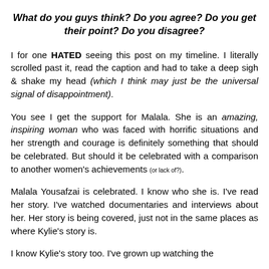What do you guys think? Do you agree? Do you get their point? Do you disagree?
I for one HATED seeing this post on my timeline. I literally scrolled past it, read the caption and had to take a deep sigh & shake my head (which I think may just be the universal signal of disappointment).
You see I get the support for Malala. She is an amazing, inspiring woman who was faced with horrific situations and her strength and courage is definitely something that should be celebrated. But should it be celebrated with a comparison to another women's achievements (or lack of).
Malala Yousafzai is celebrated. I know who she is. I've read her story. I've watched documentaries and interviews about her. Her story is being covered, just not in the same places as where Kylie's story is.
I know Kylie's story too. I've grown up watching the